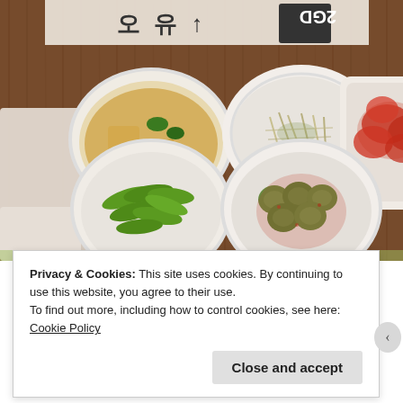[Figure (photo): Overhead view of Korean banchan (side dishes) on a wooden table: five white bowls/dishes containing various foods including edamame (green soybeans), sliced zucchini in spicy sauce, braised tofu/radish with sliced jalapeno in broth, bean sprout salad, and kimchi. Restaurant menu or sign visible at top with Korean characters and '2GD' text.]
Privacy & Cookies: This site uses cookies. By continuing to use this website, you agree to their use.
To find out more, including how to control cookies, see here: Cookie Policy
Close and accept